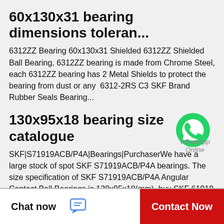60x130x31 bearing dimensions toleran...
6312ZZ Bearing 60x130x31 Shielded 6312ZZ Shielded Ball Bearing, 6312ZZ bearing is made from Chrome Steel, each 6312ZZ bearing has 2 Metal Shields to protect the bearing from dust or any  6312-2RS C3 SKF Brand Rubber Seals Bearing...
130x95x18 bearing size catalogue
[Figure (logo): WhatsApp green phone icon with WhatsApp Online label]
SKF|S71919ACB/P4A|Bearings|PurchaserWe have a large stock of spot SKF S71919ACB/P4A bearings. The size specification of SKF S71919ACB/P4A Angular Contact Ball Bearings is 130x95x18(mm), buy SKF 61919 bearing Online in Central African Republic...
Chat now   Contact Now